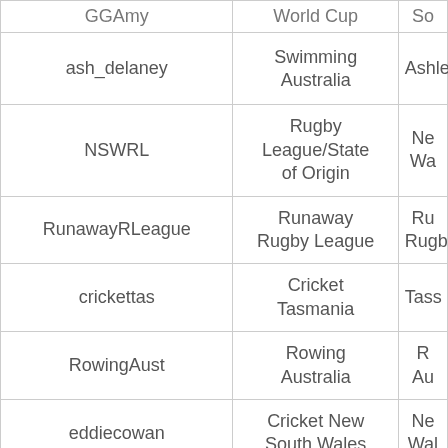| Username | Category | Name (truncated) |
| --- | --- | --- |
| GGAmy | World Cup | So… |
| ash_delaney | Swimming Australia | Ashle… |
| NSWRL | Rugby League/State of Origin | Ne… Wa… |
| RunawayRLeague | Runaway Rugby League | Ru… Rugb… |
| crickettas | Cricket Tasmania | Tass… |
| RowingAust | Rowing Australia | R… Au… |
| eddiecowan | Cricket New South Wales | Ne… Wal… |
| SANFLnews | SANFL | S… |
| AliciaMolik | Tennis Australia | Alic… |
| … | … | We… |